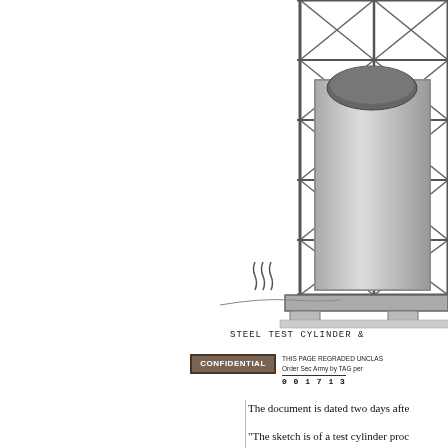[Figure (illustration): Pencil sketch of a steel test cylinder inside a structural steel frame/cage mounted on a base. The cylinder appears as a rectangular block inside a latticed triangular-braced frame structure. Small notation marks (resembling flame or vapor symbols) appear to the left of the base. The image is cropped, showing the right portion of the full diagram.]
STEEL TEST CYLINDER &
THIS PAGE REGRADED UNCLAS... Order Sec Army by TAG per ... 0 0 1 7 1 3 ...
The document is dated two days afte
"The sketch is of a test cylinder proc the bomb. If, at the time of the test, v